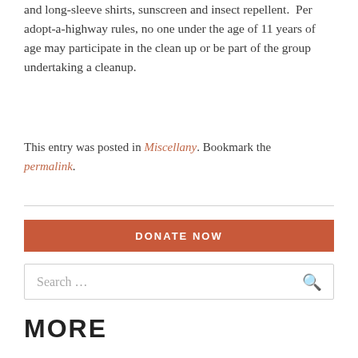and long-sleeve shirts, sunscreen and insect repellent.  Per adopt-a-highway rules, no one under the age of 11 years of age may participate in the clean up or be part of the group undertaking a cleanup.
This entry was posted in Miscellany. Bookmark the permalink.
DONATE NOW
Search ...
MORE